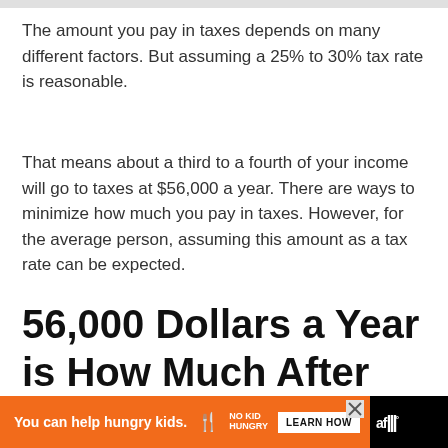The amount you pay in taxes depends on many different factors. But assuming a 25% to 30% tax rate is reasonable.
That means about a third to a fourth of your income will go to taxes at $56,000 a year. There are ways to minimize how much you pay in taxes. However, for the average person, assuming this amount as a tax rate can be expected.
56,000 Dollars a Year is How Much After Taxes?
[Figure (other): Advertisement banner: orange background with 'You can help hungry kids.' text, No Kid Hungry logo, and LEARN HOW button. Right side shows partial website logo on black background.]